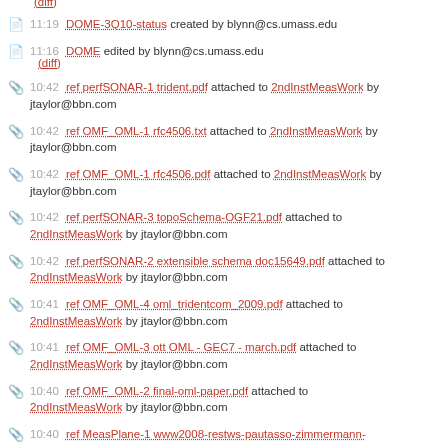(diff)
11:19 DOME-3Q10-status created by blynn@cs.umass.edu
11:16 DOME edited by blynn@cs.umass.edu
(diff)
10:42 ref perfSONAR-1 trident.pdf attached to 2ndInstMeasWork by jtaylor@bbn.com
10:42 ref OMF_OML-1 rfc4506.txt attached to 2ndInstMeasWork by jtaylor@bbn.com
10:42 ref OMF_OML-1 rfc4506.pdf attached to 2ndInstMeasWork by jtaylor@bbn.com
10:42 ref perfSONAR-3 topoSchema-OGF21.pdf attached to 2ndInstMeasWork by jtaylor@bbn.com
10:42 ref perfSONAR-2 extensible schema doc15649.pdf attached to 2ndInstMeasWork by jtaylor@bbn.com
10:41 ref OMF_OML-4 oml_tridentcom_2009.pdf attached to 2ndInstMeasWork by jtaylor@bbn.com
10:41 ref OMF_OML-3 ott OML - GEC7 - march.pdf attached to 2ndInstMeasWork by jtaylor@bbn.com
10:40 ref OMF_OML-2 final-oml-paper.pdf attached to 2ndInstMeasWork by jtaylor@bbn.com
10:40 ref MeasPlane-1 www2008-restws-pautasso-zimmermann- attached to 2ndInstMeasWork by jtaylor@bbn.com